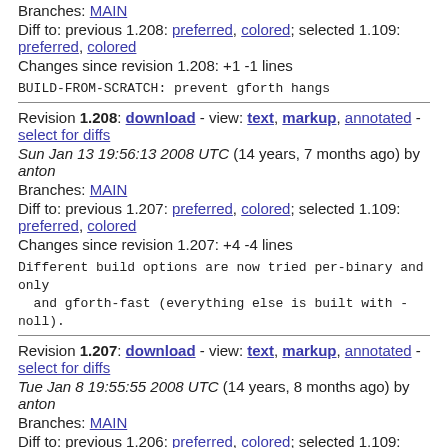Branches: MAIN
Diff to: previous 1.208: preferred, colored; selected 1.109: preferred, colored
Changes since revision 1.208: +1 -1 lines
BUILD-FROM-SCRATCH: prevent gforth hangs
Revision 1.208: download - view: text, markup, annotated - select for diffs
Sun Jan 13 19:56:13 2008 UTC (14 years, 7 months ago) by anton
Branches: MAIN
Diff to: previous 1.207: preferred, colored; selected 1.109: preferred, colored
Changes since revision 1.207: +4 -4 lines
Different build options are now tried per-binary and only and gforth-fast (everything else is built with -noll).
Revision 1.207: download - view: text, markup, annotated - select for diffs
Tue Jan 8 19:55:55 2008 UTC (14 years, 8 months ago) by anton
Branches: MAIN
Diff to: previous 1.206: preferred, colored; selected 1.109: preferred, colored
Changes since revision 1.206: +4 -10 lines